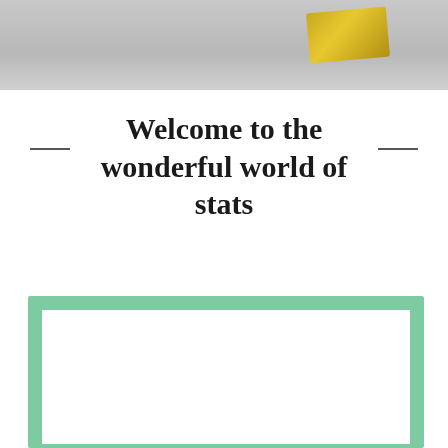[Figure (photo): Top portion of a photo showing a gray background with a yellow/golden object partially visible in the upper right corner]
Welcome to the wonderful world of stats
[Figure (other): A teal/mint green bordered white rectangle box, likely a content placeholder or frame]